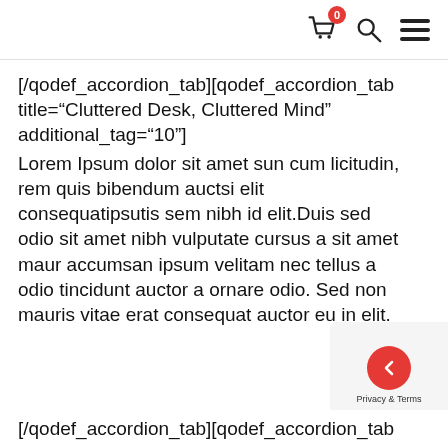Navigation header with cart (0), search, and menu icons
[/qodef_accordion_tab][qodef_accordion_tab title="Cluttered Desk, Cluttered Mind" additional_tag="10"]
Lorem Ipsum dolor sit amet sun cum licitudin, rem quis bibendum auctsi elit consequatipsutis sem nibh id elit.Duis sed odio sit amet nibh vulputate cursus a sit amet maur accumsan ipsum velitam nec tellus a odio tincidunt auctor a ornare odio. Sed non mauris vitae erat consequat auctor eu in elit.
[/qodef_accordion_tab][qodef_accordion_tab